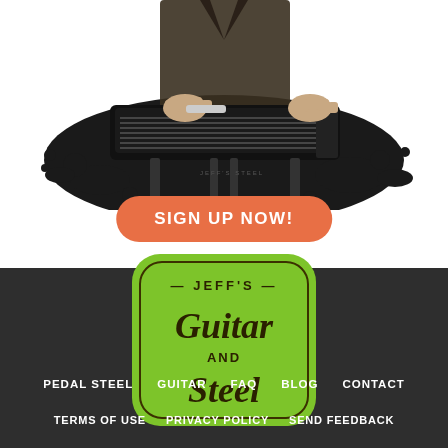[Figure (photo): Person playing a pedal steel guitar, hands on the instrument, wearing a dark jacket, black and white stylized photo with splatter effect edges]
SIGN UP NOW!
[Figure (logo): Jeff's Guitar and Steel logo — green rounded square badge with dark text reading JEFF'S at top, Guitar and Steel in script lettering]
PEDAL STEEL
GUITAR
FAQ
BLOG
CONTACT
TERMS OF USE
PRIVACY POLICY
SEND FEEDBACK